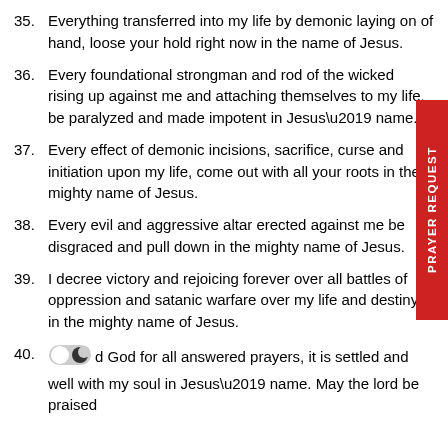35. Everything transferred into my life by demonic laying on of hand, loose your hold right now in the name of Jesus.
36. Every foundational strongman and rod of the wicked rising up against me and attaching themselves to my life, be paralyzed and made impotent in Jesus’ name.
37. Every effect of demonic incisions, sacrifice, curse and initiation upon my life, come out with all your roots in the mighty name of Jesus.
38. Every evil and aggressive altar erected against me be disgraced and pull down in the mighty name of Jesus.
39. I decree victory and rejoicing forever over all battles of oppression and satanic warfare over my life and destiny in the mighty name of Jesus.
40. Thank God for all answered prayers, it is settled and well with my soul in Jesus’ name. May the lord be praised
[Figure (other): Red vertical sidebar tab with text PRAYER REQUEST written vertically]
[Figure (other): Toggle switch icon (dark mode toggle) overlaid on item 40]